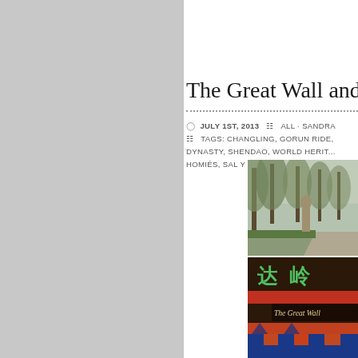The Great Wall and M
JULY 1ST, 2013   ALL · SANDRA
TAGS: CHANGLING, GORUN RIDE, DYNASTY, SHENDAO, WORLD HERITAGE, HOMIÉS, SAL Y LIMON, SKECHERS,
[Figure (photo): Misty tree-lined path with stone statue, possibly at Ming Tombs Shendao spirit way]
[Figure (photo): The Great Wall sign with Chinese characters and decorative wooden architecture]